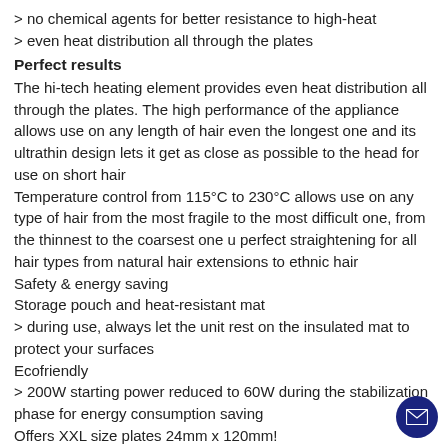> no chemical agents for better resistance to high-heat
> even heat distribution all through the plates
Perfect results
The hi-tech heating element provides even heat distribution all through the plates. The high performance of the appliance allows use on any length of hair even the longest one and its ultrathin design lets it get as close as possible to the head for use on short hair
Temperature control from 115°C to 230°C allows use on any type of hair from the most fragile to the most difficult one, from the thinnest to the coarsest one u perfect straightening for all hair types from natural hair extensions to ethnic hair
Safety & energy saving
Storage pouch and heat-resistant mat
> during use, always let the unit rest on the insulated mat to protect your surfaces
Ecofriendly
> 200W starting power reduced to 60W during the stabilization phase for energy consumption saving
Offers XXL size plates 24mm x 120mm!
Auto shut-off after 72 minutes.
Its curved design also creates perfect curls